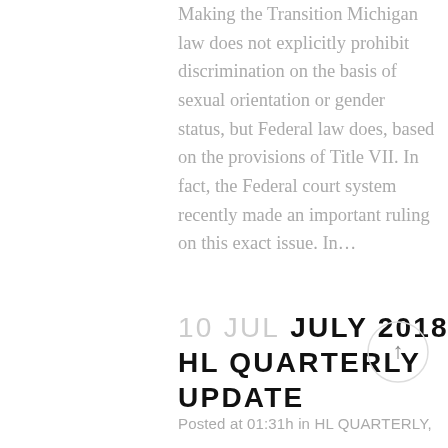Making the Transition Michigan law does not explicitly prohibit discrimination on the basis of sexual orientation or gender status, but Federal law does, based on the provisions of Title VII. In fact, the Federal court system recently made an important ruling on this exact issue. In…
10 JUL JULY 2018 HL QUARTERLY UPDATE
Posted at 01:31h in HL QUARTERLY,